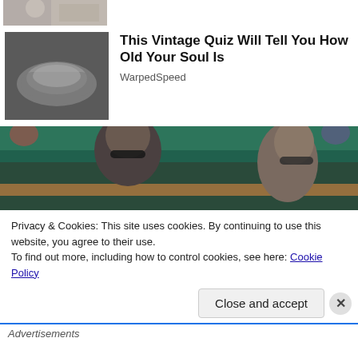[Figure (photo): Partial top image cropped, showing person in floral outfit]
[Figure (photo): Car interior door handle, grey/silver, close-up]
This Vintage Quiz Will Tell You How Old Your Soul Is
WarpedSpeed
[Figure (photo): Two people wearing sunglasses seated at what appears to be a sports event (Wimbledon), green seats in background]
Privacy & Cookies: This site uses cookies. By continuing to use this website, you agree to their use.
To find out more, including how to control cookies, see here: Cookie Policy
Close and accept
Advertisements